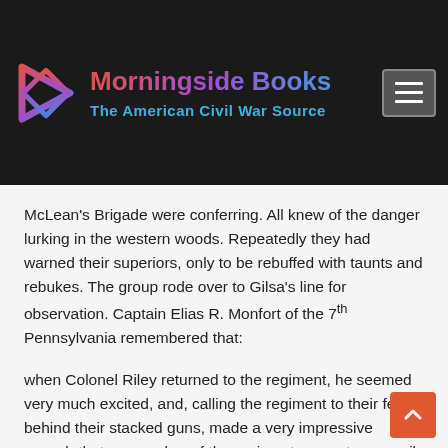Morningside Books — The American Civil War Source
McLean's Brigade were conferring. All knew of the danger lurking in the western woods. Repeatedly they had warned their superiors, only to be rebuffed with taunts and rebukes. The group rode over to Gilsa's line for observation. Captain Elias R. Monfort of the 7th Pennsylvania remembered that:
when Colonel Riley returned to the regiment, he seemed very much excited, and, calling the regiment to their feet behind their stacked guns, made a very impressive speech that no member of the regiment present can easily forget. Among other things, he said: “A great battle is pending in which many lives will be lost. Some of us will not